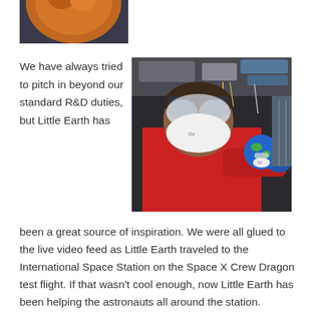[Figure (photo): Partial view of a round orange/brown object (top portion only), cropped at top of page]
We have always tried to pitch in beyond our standard R&D duties, but Little Earth has
[Figure (photo): A person in a red shirt wearing protective goggles and a white N95 mask, holding a small plush toy (Little Earth) also wearing a tiny mask, inside what appears to be the International Space Station equipment bay]
been a great source of inspiration. We were all glued to the live video feed as Little Earth traveled to the International Space Station on the Space X Crew Dragon test flight. If that wasn't cool enough, now Little Earth has been helping the astronauts all around the station.